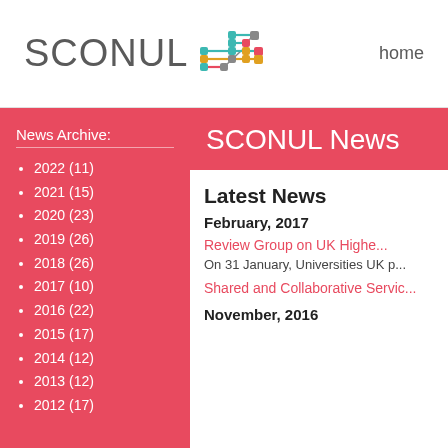SCONUL  home
News Archive:
2022 (11)
2021 (15)
2020 (23)
2019 (26)
2018 (26)
2017 (10)
2016 (22)
2015 (17)
2014 (12)
2013 (12)
2012 (17)
SCONUL News
Latest News
February, 2017
Review Group on UK Highe...
On 31 January, Universities UK p...
Shared and Collaborative Servic...
November, 2016